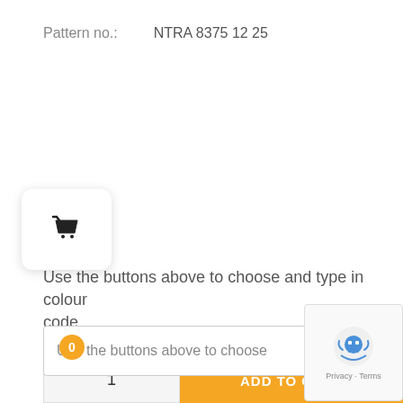Pattern no.:    NTRA 8375 12 25
Use the buttons above to choose and type in colour code
[Figure (screenshot): Shopping basket widget with orange badge showing 0, white rounded card background]
Use the buttons above to choose
[Figure (screenshot): Dark grey up/chevron button]
[Figure (screenshot): reCAPTCHA widget with robot icon and Privacy - Terms links]
ADD TO CART